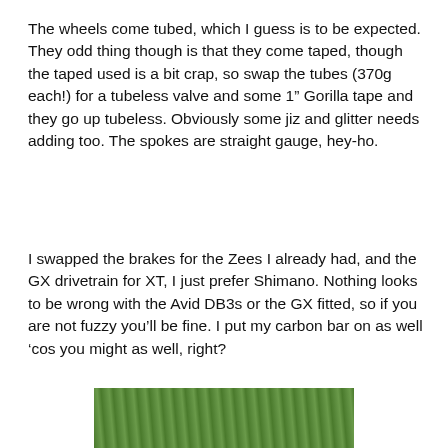The wheels come tubed, which I guess is to be expected. They odd thing though is that they come taped, though the taped used is a bit crap, so swap the tubes (370g each!) for a tubeless valve and some 1" Gorilla tape and they go up tubeless. Obviously some jiz and glitter needs adding too. The spokes are straight gauge, hey-ho.
I swapped the brakes for the Zees I already had, and the GX drivetrain for XT, I just prefer Shimano. Nothing looks to be wrong with the Avid DB3s or the GX fitted, so if you are not fuzzy you'll be fine. I put my carbon bar on as well ‘cos you might as well, right?
[Figure (photo): Bottom portion of a photo showing green grass or foliage, partially cut off at page edge.]